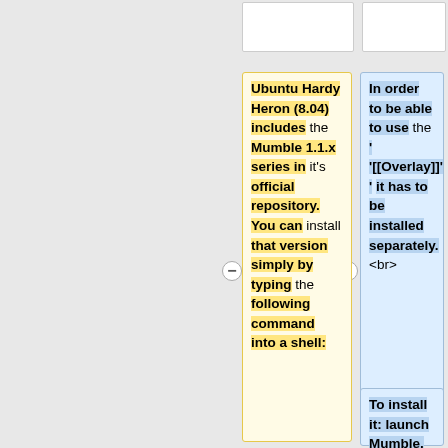(top-left box, partially visible)
(top-right box, partially visible)
Ubuntu Hardy Heron (8.04) includes the Mumble 1.1.x series in it's official repository. You can install that version simply by typing the following command into a shell:
In order to be able to use the '"[[Overlay]]"' it has to be installed separately. <br>
To install it: launch Mumble, go into